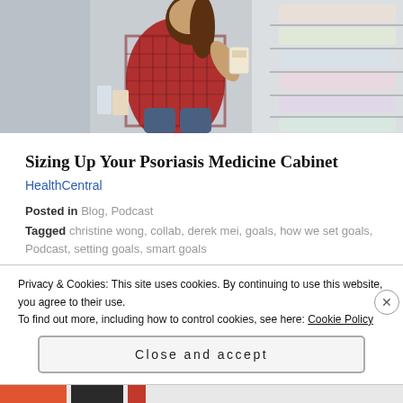[Figure (photo): Woman in red plaid shirt crouching in pharmacy/store aisle, reading product label, shelves with products in background]
Sizing Up Your Psoriasis Medicine Cabinet
HealthCentral
Posted in Blog, Podcast
Tagged christine wong, collab, derek mei, goals, how we set goals, Podcast, setting goals, smart goals
Privacy & Cookies: This site uses cookies. By continuing to use this website, you agree to their use.
To find out more, including how to control cookies, see here: Cookie Policy
Close and accept